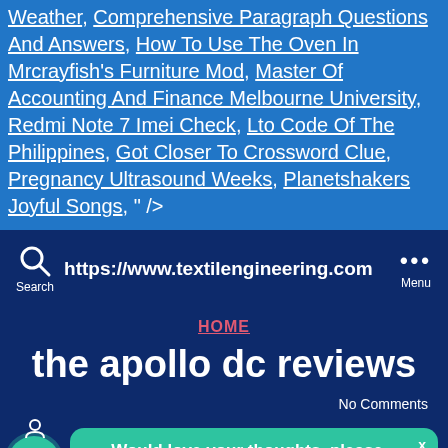Weather, Comprehensive Paragraph Questions And Answers, How To Use The Oven In Mrcrayfish's Furniture Mod, Master Of Accounting And Finance Melbourne University, Redmi Note 7 Imei Check, Lto Code Of The Philippines, Got Closer To Crossword Clue, Pregnancy Ultrasound Weeks, Planetshakers Joyful Songs, " />
[Figure (screenshot): Browser navigation bar showing https://www.textilengineering.com with search icon and menu]
HOME
the apollo dc reviews
No Comments
Would love your thoughts, please comment.